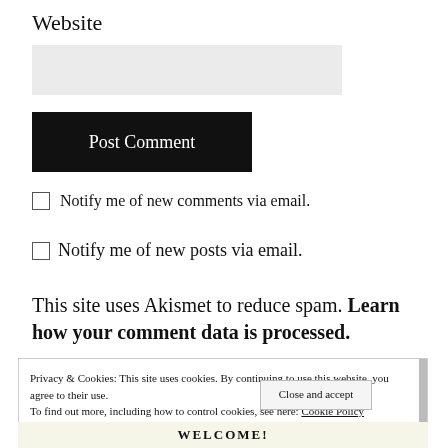Website
Post Comment
Notify me of new comments via email.
Notify me of new posts via email.
This site uses Akismet to reduce spam. Learn how your comment data is processed.
Privacy & Cookies: This site uses cookies. By continuing to use this website, you agree to their use. To find out more, including how to control cookies, see here: Cookie Policy
Close and accept
WELCOME!